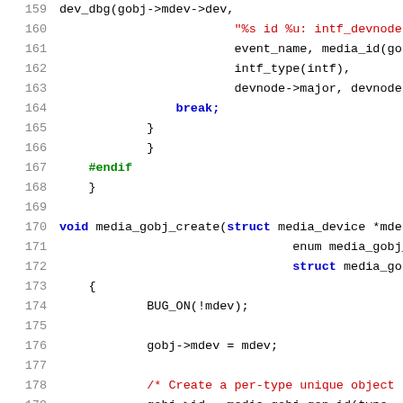[Figure (screenshot): Source code listing showing C code lines 159-180, with syntax highlighting. Line numbers in gray on left, keywords in blue bold, strings in dark red, comments in dark red, preprocessor directives in green bold, plain code in black.]